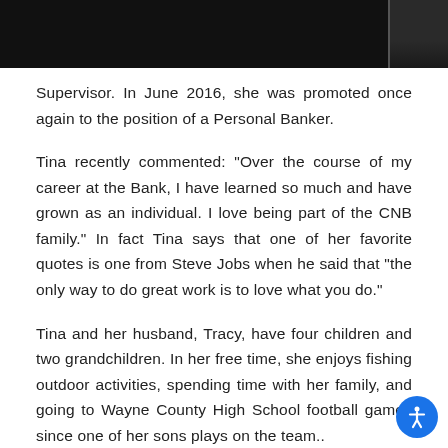[Figure (photo): Dark photo strip at the top of the page, partially visible image with dark background]
Supervisor. In June 2016, she was promoted once again to the position of a Personal Banker.
Tina recently commented: “Over the course of my career at the Bank, I have learned so much and have grown as an individual. I love being part of the CNB family.” In fact Tina says that one of her favorite quotes is one from Steve Jobs when he said that “the only way to do great work is to love what you do.”
Tina and her husband, Tracy, have four children and two grandchildren. In her free time, she enjoys fishing outdoor activities, spending time with her family, and going to Wayne County High School football games since one of her sons plays on the team..
Citizens National Bank is an independent, Mississippi-